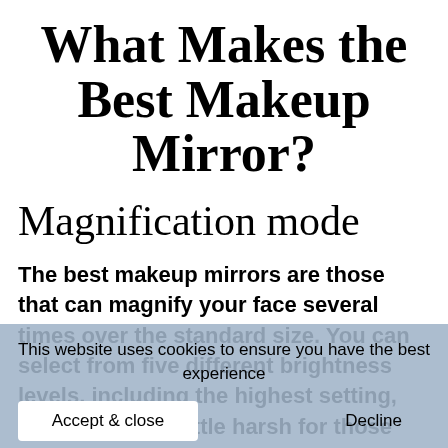What Makes the Best Makeup Mirror?
Magnification mode
The best makeup mirrors are those that can magnify your face several times over the standard size. You can select from five different brightness levels, including the highest setting, which can be a little harsh for those with sensitive eyes. Nonetheless, the brightest setting is good for doing close-up makeup work. Other features of the best makeup mirrors include Bluetooth connectivity, an adjustable stand, and Wi-Fi. If you
This website uses cookies to ensure you have the best experience
Accept & close
Decline